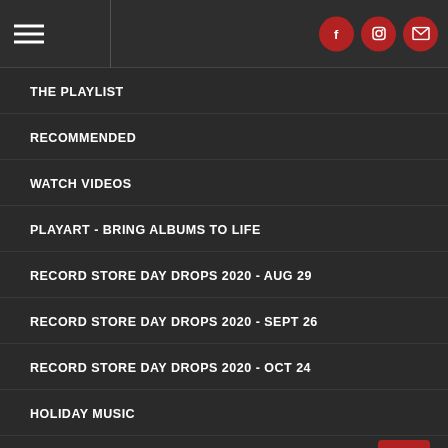Navigation menu header with hamburger icon and social icons (Facebook, Instagram, Email)
THE PLAYLIST
RECOMMENDED
WATCH VIDEOS
PLAYART - BRING ALBUMS TO LIFE
RECORD STORE DAY DROPS 2020 - AUG 29
RECORD STORE DAY DROPS 2020 - SEPT 26
RECORD STORE DAY DROPS 2020 - OCT 24
HOLIDAY MUSIC
TEN BANDS ONE CAUSE 2022
ELTON JOHN: REMASTERED VINYL SERIES